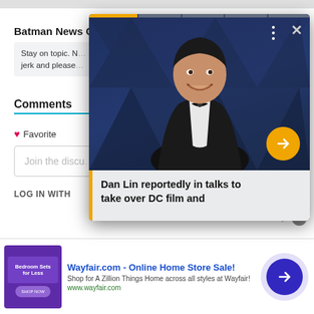Batman News Comment Policy
Stay on topic. No ... jerk and please...
Comments
Favorite
Join the discu...
LOG IN WITH
[Figure (screenshot): Overlay card showing a man in a tuxedo at an event with blue triangle pattern background. Caption reads 'Dan Lin reportedly in talks to take over DC film and'. Has a yellow arrow button, three-dot menu, and close button.]
[Figure (screenshot): Advertisement banner for Wayfair.com - Online Home Store Sale! with purple thumbnail showing Bedroom Sets for Less, ad text, URL www.wayfair.com, and a blue circle arrow button.]